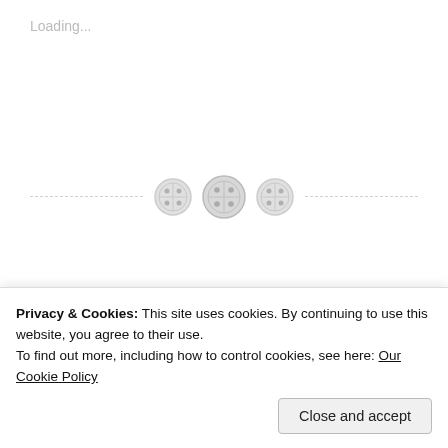Loading...
[Figure (illustration): Three circular button icons arranged horizontally, light gray, with cross-stitch patterns]
[Figure (logo): Semicircular dark navy blue logo with an open book icon in the center and partial text 'Romance' at the bottom]
Privacy & Cookies: This site uses cookies. By continuing to use this website, you agree to their use.
To find out more, including how to control cookies, see here: Our Cookie Policy
Close and accept